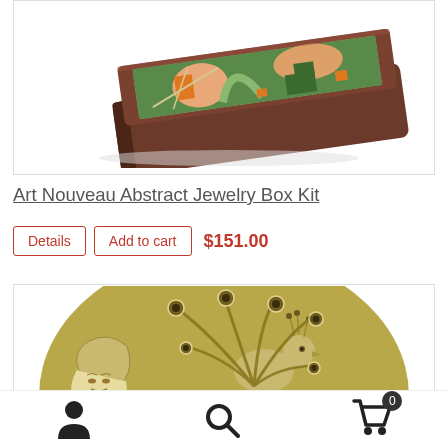[Figure (photo): Art Nouveau Abstract Jewelry Box Kit product image showing a rectangular wooden box with a colorful abstract tiled top in greens, orange, and peach tones, photographed at an angle on white background.]
Art Nouveau Abstract Jewelry Box Kit
Details  Add to cart  $151.00
[Figure (illustration): Circular illustration in olive/gold and cream colors showing an Art Nouveau style design with a woman's face and a peacock with elaborate tail feathers.]
Person icon  Search icon  Cart icon with badge 0